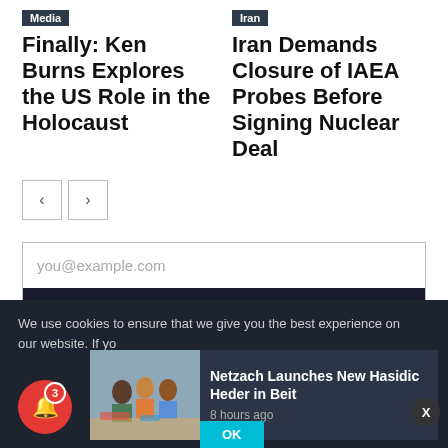Media
Finally: Ken Burns Explores the US Role in the Holocaust
Iran
Iran Demands Closure of IAEA Probes Before Signing Nuclear Deal
[Figure (other): Navigation previous and next arrow buttons]
[Figure (other): Email subscription form with input field 'you@example.com' and 'Subscribe to our Email List' button]
We use cookies to ensure that we give you the best experience on our website. If yo
[Figure (other): Notification bell icon with badge showing 3]
[Figure (photo): Children sitting on floor in classroom]
Netzach Launches New Hasidic Heder in Beit
8 hours ago
OK
X